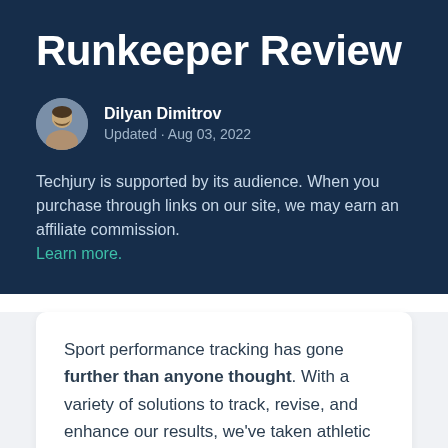Runkeeper Review
Dilyan Dimitrov
Updated · Aug 03, 2022
Techjury is supported by its audience. When you purchase through links on our site, we may earn an affiliate commission. Learn more.
Sport performance tracking has gone further than anyone thought. With a variety of solutions to track, revise, and enhance our results, we've taken athletic improvement to a new level. In this Runkeeper review, I'll explore